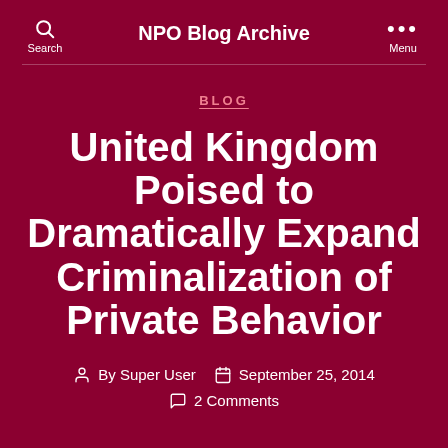NPO Blog Archive
BLOG
United Kingdom Poised to Dramatically Expand Criminalization of Private Behavior
By Super User   September 25, 2014   2 Comments